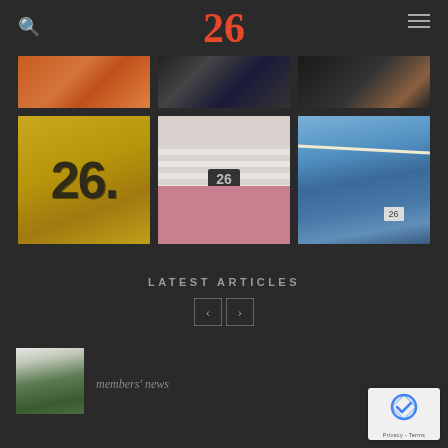26
[Figure (photo): Six photos in a grid showing the number 26 in various settings: brick wall, doorway, yellow painted surface with graffiti 26, pink door with number plate, blue building with roof]
LATEST ARTICLES
[Figure (photo): Thumbnail photo of trees/forest]
members' news